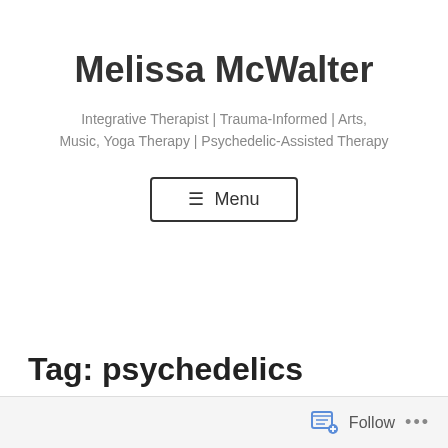Melissa McWalter
Integrative Therapist | Trauma-Informed | Arts, Music, Yoga Therapy | Psychedelic-Assisted Therapy
≡ Menu
Tag: psychedelics
Follow ...